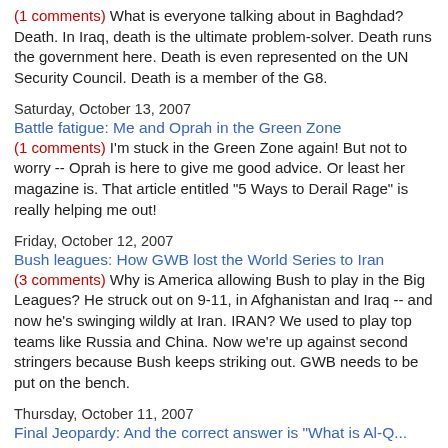(1 comments) What is everyone talking about in Baghdad? Death. In Iraq, death is the ultimate problem-solver. Death runs the government here. Death is even represented on the UN Security Council. Death is a member of the G8.
Saturday, October 13, 2007
Battle fatigue: Me and Oprah in the Green Zone
(1 comments) I'm stuck in the Green Zone again! But not to worry -- Oprah is here to give me good advice. Or least her magazine is. That article entitled "5 Ways to Derail Rage" is really helping me out!
Friday, October 12, 2007
Bush leagues: How GWB lost the World Series to Iran
(3 comments) Why is America allowing Bush to play in the Big Leagues? He struck out on 9-11, in Afghanistan and Iraq -- and now he's swinging wildly at Iran. IRAN? We used to play top teams like Russia and China. Now we're up against second stringers because Bush keeps striking out. GWB needs to be put on the bench.
Thursday, October 11, 2007
Final Jeopardy: And the correct answer is "What is Al-Q..."